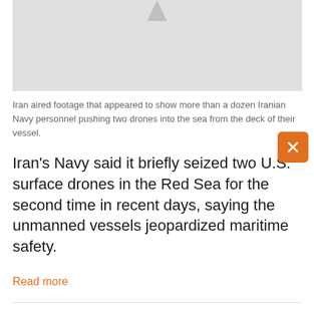[Figure (photo): Partial image of Iranian Navy vessel/drone scene, mostly cropped out, light gray placeholder area with a small triangular watermark shape at top center]
Iran aired footage that appeared to show more than a dozen Iranian Navy personnel pushing two drones into the sea from the deck of their vessel.
Iran's Navy said it briefly seized two U.S. surface drones in the Red Sea for the second time in recent days, saying the unmanned vessels jeopardized maritime safety.
Read more
[Figure (infographic): Social media sharing icons: Facebook (dark blue), Twitter (light blue), VK (teal/dark cyan), Email (dark gray), More/ellipsis (gray)]